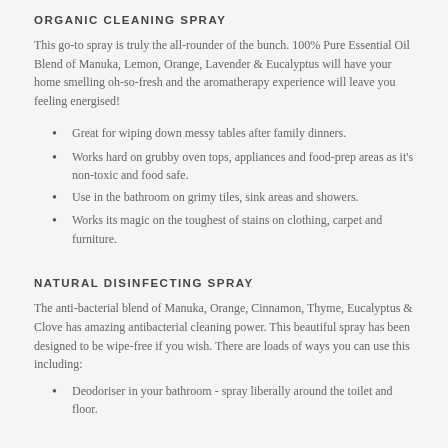ORGANIC CLEANING SPRAY
This go-to spray is truly the all-rounder of the bunch. 100% Pure Essential Oil Blend of Manuka, Lemon, Orange, Lavender & Eucalyptus will have your home smelling oh-so-fresh and the aromatherapy experience will leave you feeling energised!
Great for wiping down messy tables after family dinners.
Works hard on grubby oven tops, appliances and food-prep areas as it's non-toxic and food safe.
Use in the bathroom on grimy tiles, sink areas and showers.
Works its magic on the toughest of stains on clothing, carpet and furniture.
NATURAL DISINFECTING SPRAY
The anti-bacterial blend of Manuka, Orange, Cinnamon, Thyme, Eucalyptus & Clove has amazing antibacterial cleaning power. This beautiful spray has been designed to be wipe-free if you wish. There are loads of ways you can use this including:
Deodoriser in your bathroom - spray liberally around the toilet and floor.